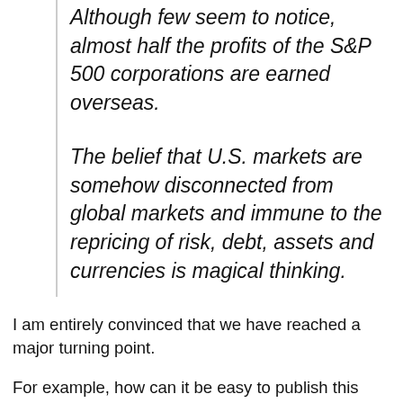Although few seem to notice, almost half the profits of the S&P 500 corporations are earned overseas.
The belief that U.S. markets are somehow disconnected from global markets and immune to the repricing of risk, debt, assets and currencies is magical thinking.
I am entirely convinced that we have reached a major turning point.
For example, how can it be easy to publish this...